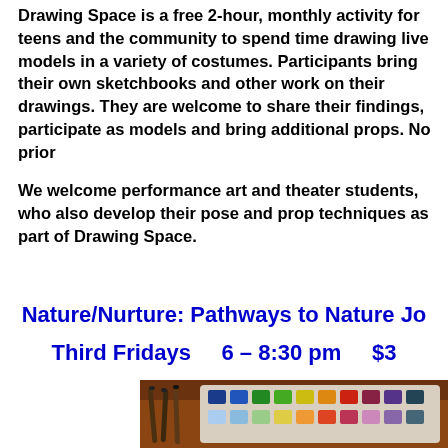Drawing Space is a free 2-hour, monthly activity for teens and the community to spend time drawing live models in a variety of costumes. Participants bring their own sketchbooks and other work on their drawings. They are welcome to share their fi... participate as models and bring additional props. No prior...

We welcome performance art and theater students, who al... their pose and prop techniques as part of Drawing Space.
Nature/Nurture: Pathways to Nature Jo...
Third Fridays    6 – 8:30 pm    $3...
[Figure (photo): A watercolor paint palette with multiple colorful paint squares arranged in rows, including greens, blues, yellows, reds, and other colors, with art brushes visible on the left side, photographed from above on a wooden surface.]